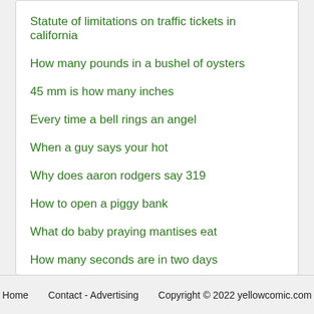Statute of limitations on traffic tickets in california
How many pounds in a bushel of oysters
45 mm is how many inches
Every time a bell rings an angel
When a guy says your hot
Why does aaron rodgers say 319
How to open a piggy bank
What do baby praying mantises eat
How many seconds are in two days
Home   Contact - Advertising   Copyright © 2022 yellowcomic.com